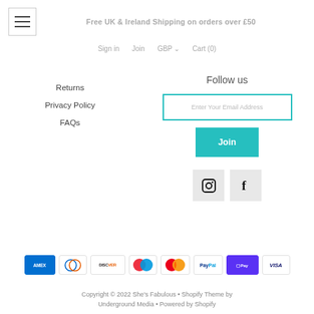Free UK & Ireland Shipping on orders over £50
Sign in   Join   GBP ▾   Cart (0)
Returns
Privacy Policy
FAQs
Follow us
Enter Your Email Address
Join
[Figure (infographic): Instagram and Facebook social media icon buttons in light grey square boxes]
[Figure (infographic): Payment method icons: American Express, Diners Club, Discover, unbranded card, Mastercard, PayPal, Shop Pay, Visa]
Copyright © 2022 She's Fabulous • Shopify Theme by Underground Media • Powered by Shopify